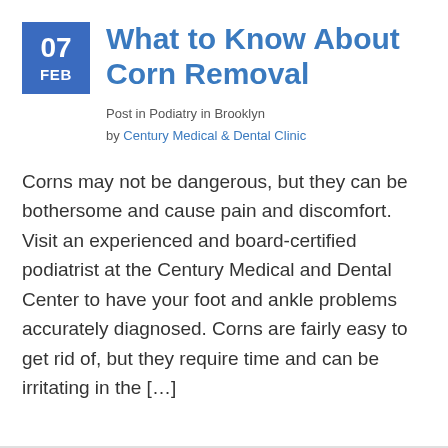07 FEB — What to Know About Corn Removal
Post in Podiatry in Brooklyn
by Century Medical & Dental Clinic
Corns may not be dangerous, but they can be bothersome and cause pain and discomfort. Visit an experienced and board-certified podiatrist at the Century Medical and Dental Center to have your foot and ankle problems accurately diagnosed. Corns are fairly easy to get rid of, but they require time and can be irritating in the […]